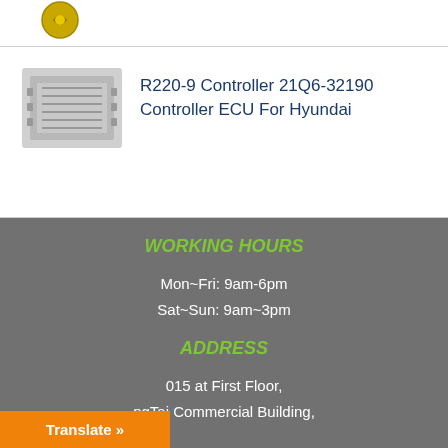[Figure (logo): Small circular logo icon at top left]
R220-9 Controller 21Q6-32190 Controller ECU For Hyundai
WORKING HOURS
Mon~Fri: 9am-6pm
Sat~Sun: 9am~3pm
ADDRESS
015 at First Floor, ngTai Commercial Building,
Translate »